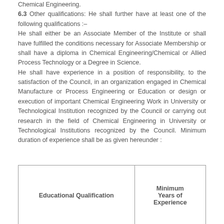Chemical Engineering. 6.3 Other qualifications: He shall further have at least one of the following qualifications :– He shall either be an Associate Member of the Institute or shall have fulfilled the conditions necessary for Associate Membership or shall have a diploma in Chemical Engineering/Chemical or Allied Process Technology or a Degree in Science. He shall have experience in a position of responsibility, to the satisfaction of the Council, in an organization engaged in Chemical Manufacture or Process Engineering or Education or design or execution of important Chemical Engineering Work in University or Technological Institution recognized by the Council or carrying out research in the field of Chemical Engineering in University or Technological Institutions recognized by the Council. Minimum duration of experience shall be as given hereunder :
| Educational Qualification | Minimum Years of Experience |
| --- | --- |